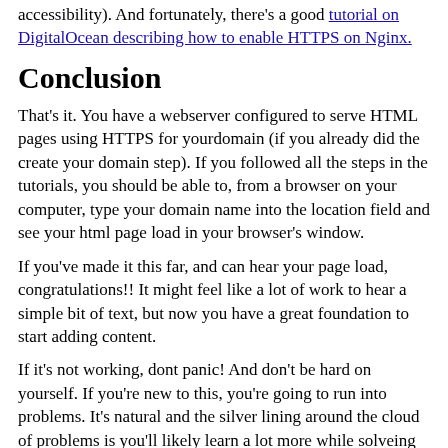accessibility). And fortunately, there's a good tutorial on DigitalOcean describing how to enable HTTPS on Nginx.
Conclusion
That's it. You have a webserver configured to serve HTML pages using HTTPS for yourdomain (if you already did the create your domain step). If you followed all the steps in the tutorials, you should be able to, from a browser on your computer, type your domain name into the location field and see your html page load in your browser's window.
If you've made it this far, and can hear your page load, congratulations!! It might feel like a lot of work to hear a simple bit of text, but now you have a great foundation to start adding content.
If it's not working, dont panic! And don't be hard on yourself. If you're new to this, you're going to run into problems. It's natural and the silver lining around the cloud of problems is you'll likely learn a lot more while solveing those problems. Go back through the DigitalOcean tutorials and make sure you followed all the steps. And if you're thnking of a career in web development, or something related, problem solving skills are fundamental to your success. So, rejoice at the opportunity to learn more and sharpen